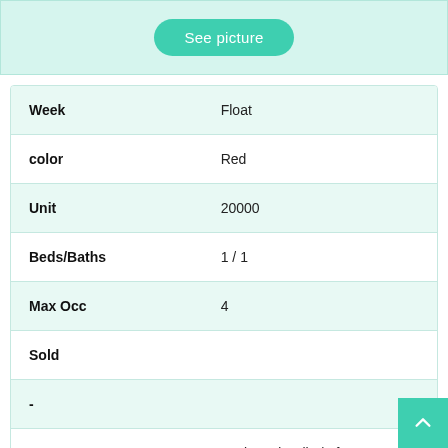[Figure (other): Teal/mint panel with a 'See picture' button]
| Field | Value |
| --- | --- |
| Week | Float |
| color | Red |
| Unit | 20000 |
| Beds/Baths | 1 / 1 |
| Max Occ | 4 |
| Sold |  |
| - |  |
| Comments | Motivated Seller|Of A great |